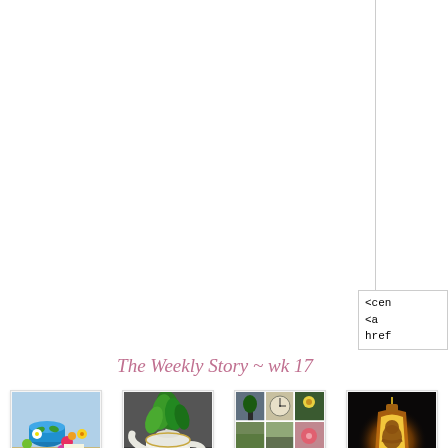<center>
<a
href
The Weekly Story ~ wk 17
[Figure (photo): 1. My best friend's birthday!! - colorful tea set with flowers]
1. My best friend's birthday!!
[Figure (photo): 2. Green-Tea - white teapot with green plant]
2. Green-Tea
[Figure (photo): 3. Amateur Photography... Cliched - photo collage grid]
3. Amateur Photography... Cliched
[Figure (photo): 4. Online Review - glowing lantern with Buddha]
4. Online Review -